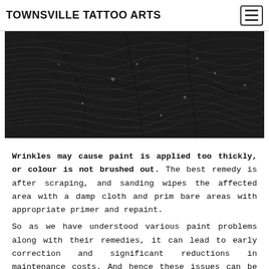TOWNSVILLE TATTOO ARTS
[Figure (photo): Close-up black and white textured surface resembling topographic ridges, wrinkles, or cracked paint patterns on a surface.]
Wrinkles may cause paint is applied too thickly, or colour is not brushed out. The best remedy is after scraping, and sanding wipes the affected area with a damp cloth and prim bare areas with appropriate primer and repaint.
So as we have understood various paint problems along with their remedies, it can lead to early correction and significant reductions in maintenance costs. And hence these issues can be immediately